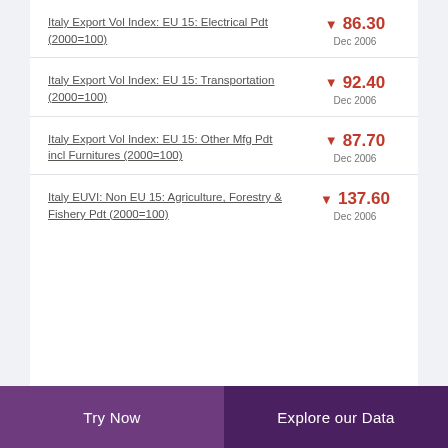Italy Export Vol Index: EU 15: Electrical Pdt (2000=100)
Italy Export Vol Index: EU 15: Transportation (2000=100)
Italy Export Vol Index: EU 15: Other Mfg Pdt incl Furnitures (2000=100)
Italy EUVI: Non EU 15: Agriculture, Forestry & Fishery Pdt (2000=100)
Try Now  |  Explore our Data